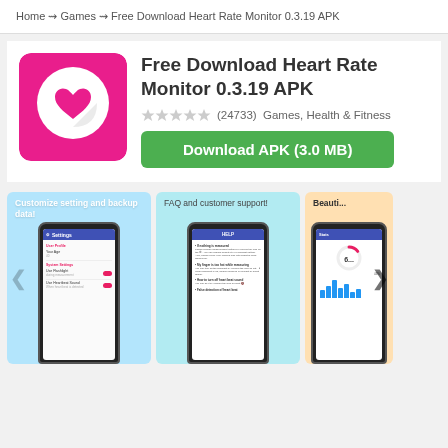Home ⇝ Games ⇝ Free Download Heart Rate Monitor 0.3.19 APK
Free Download Heart Rate Monitor 0.3.19 APK
(24733)  Games, Health & Fitness
Download APK (3.0 MB)
[Figure (screenshot): App icon with pink background and white heart, plus three phone screenshots showing Settings, Help/FAQ, and Stats screens of the Heart Rate Monitor app.]